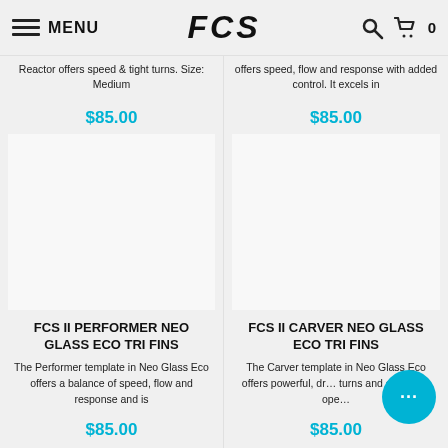MENU | FCS | 0
Reactor offers speed & tight turns. Size: Medium
$85.00
offers speed, flow and response with added control. It excels in
$85.00
FCS II PERFORMER NEO GLASS ECO TRI FINS
The Performer template in Neo Glass Eco offers a balance of speed, flow and response and is
$85.00
FCS II CARVER NEO GLASS ECO TRI FINS
The Carver template in Neo Glass Eco offers powerful, drive turns and excels on ope…
$85.00